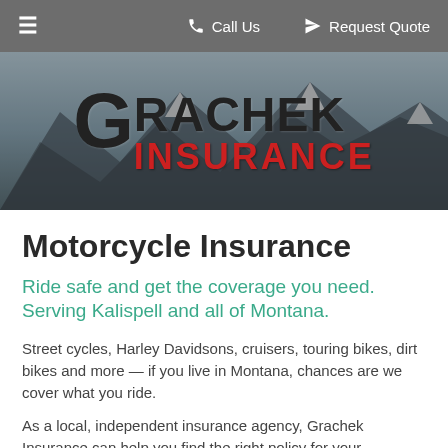≡   Call Us   Request Quote
[Figure (logo): Grachek Insurance logo over mountain landscape hero banner]
Motorcycle Insurance
Ride safe and get the coverage you need. Serving Kalispell and all of Montana.
Street cycles, Harley Davidsons, cruisers, touring bikes, dirt bikes and more — if you live in Montana, chances are we cover what you ride.
As a local, independent insurance agency, Grachek Insurance can help you find the right policy for your